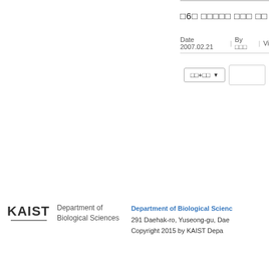□6□ □□□□□ □□□ □□
Date 2007.02.21  |  By □□□  |  Vi
[Figure (screenshot): Search dropdown UI element with label '□□+□□' and dropdown arrow, alongside an empty search input box]
KAIST Department of Biological Sciences
291 Daehak-ro, Yuseong-gu, Dae
Copyright 2015 by KAIST Depa